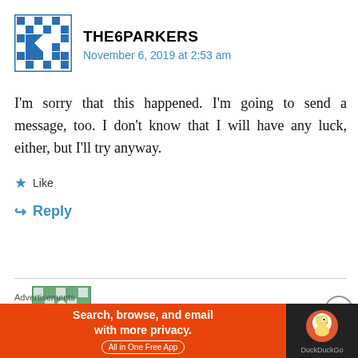[Figure (illustration): Avatar/gravatar icon for THE6PARKERS — blue and white geometric quilt pattern]
THE6PARKERS
November 6, 2019 at 2:53 am
I'm sorry that this happened. I'm going to send a message, too. I don't know that I will have any luck, either, but I'll try anyway.
Like
Reply
[Figure (illustration): Avatar/gravatar icon for KPHILLIP79 — green and white geometric quilt pattern]
KPHILLIP79
November 8, 2019 at 1:00 am
Advertisements
[Figure (screenshot): DuckDuckGo advertisement banner: orange left panel with text 'Search, browse, and email with more privacy. All in One Free App' and dark right panel with DuckDuckGo duck logo]